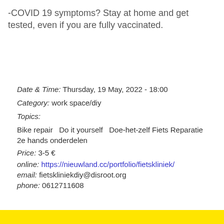-COVID 19 symptoms? Stay at home and get tested, even if you are fully vaccinated.
Date & Time: Thursday, 19 May, 2022 - 18:00
Category: work space/diy
Topics:
Bike repair   Do it yourself   Doe-het-zelf Fiets Reparatie   2e hands onderdelen
Price: 3-5 €
online: https://nieuwland.cc/portfolio/fietskliniek/
email: fietskliniekdiy@disroot.org
phone: 0612711608